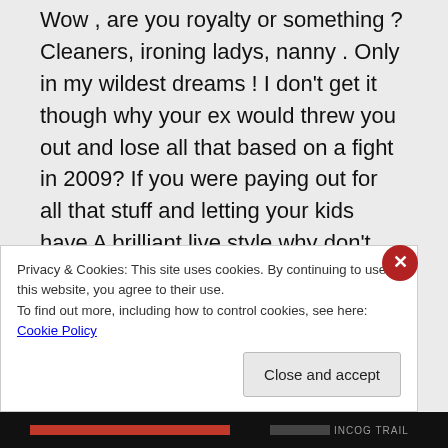Wow , are you royalty or something ? Cleaners, ironing ladys, nanny . Only in my wildest dreams ! I don't get it though why your ex would threw you out and lose all that based on a fight in 2009? If you were paying out for all that stuff and letting your kids have A brilliant live style why don't you carry on paying ? £1200 a month on benefits sounds ace to me ( and
Privacy & Cookies: This site uses cookies. By continuing to use this website, you agree to their use.
To find out more, including how to control cookies, see here: Cookie Policy
Close and accept